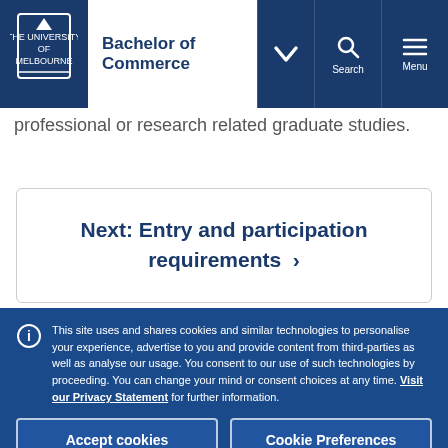Bachelor of Commerce
professional or research related graduate studies.
Next: Entry and participation requirements ›
This site uses and shares cookies and similar technologies to personalise your experience, advertise to you and provide content from third-parties as well as analyse our usage. You consent to our use of such technologies by proceeding. You can change your mind or consent choices at any time. Visit our Privacy Statement for further information.
Accept cookies
Cookie Preferences